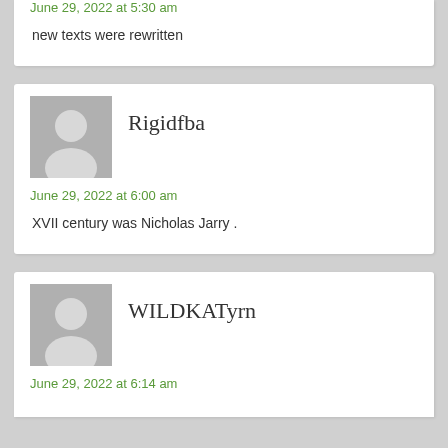June 29, 2022 at 5:30 am
new texts were rewritten
Rigidfba
June 29, 2022 at 6:00 am
XVII century was Nicholas Jarry .
WILDKATyrn
June 29, 2022 at 6:14 am